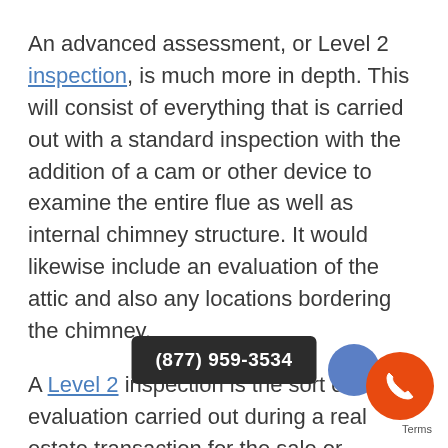An advanced assessment, or Level 2 inspection, is much more in depth. This will consist of everything that is carried out with a standard inspection with the addition of a cam or other device to examine the entire flue as well as internal chimney structure. It would likewise include an evaluation of the attic and also any locations bordering the chimney.
A Level 2 inspection is the sort of evaluation carried out during a real estate transaction for the sale or purchase of a residential property. It's also suggested if you have had recent damage, quakes, chimney fires, or any type of event which might have affected the structure of the chimney. If you're preparing to have a chimney relining or you've a lot of modifications in the way… fireplace, then the more comprehensive